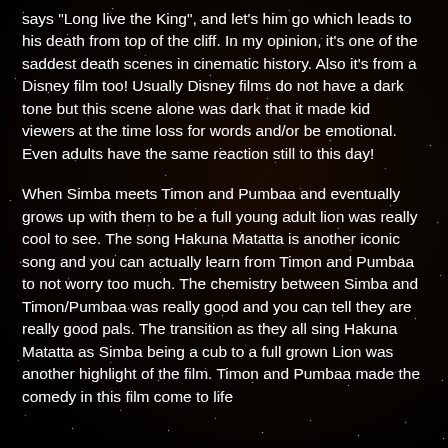says "Long live the King", and let's him go which leads to his death from top of the cliff. In my opinion, it's one of the saddest death scenes in cinematic history. Also it's from a Disney film too! Usually Disney films do not have a dark tone but this scene alone was dark that it made kid viewers at the time loss for words and/or be emotional. Even adults have the same reaction still to this day!
When Simba meets Timon and Pumbaa and eventually grows up with them to be a full young adult lion was really cool to see. The song Hakuna Matatta is another iconic song and you can actually learn from Timon and Pumbaa to not worry too much. The chemistry between Simba and Timon/Pumbaa was really good and you can tell they are really good pals. The transition as they all sing Hakuna Matatta as Simba being a cub to a full grown Lion was another highlight of the film. Timon and Pumbaa made the comedy in this film come to life